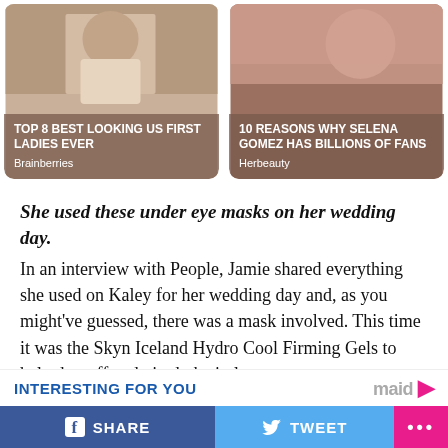[Figure (photo): Card with photo of a person wearing a sleeveless top, overlay reads: TOP 8 BEST LOOKING US FIRST LADIES EVER, source: Brainberries]
[Figure (photo): Card with photo of Selena Gomez wearing large hoop earrings, overlay reads: 10 REASONS WHY SELENA GOMEZ HAS BILLIONS OF FANS, source: Herbeauty]
She used these under eye masks on her wedding day. In an interview with People, Jamie shared everything she used on Kaley for her wedding day and, as you might've guessed, there was a mask involved. This time it was the Skyn Iceland Hydro Cool Firming Gels to help de-puff and nix dark circles
INTERESTING FOR YOU
SHARE
TWEET
...